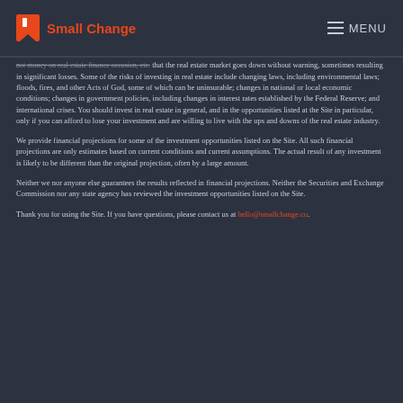Small Change | MENU
...that the real estate market goes down without warning, sometimes resulting in significant losses. Some of the risks of investing in real estate include changing laws, including environmental laws; floods, fires, and other Acts of God, some of which can be uninsurable; changes in national or local economic conditions; changes in government policies, including changes in interest rates established by the Federal Reserve; and international crises. You should invest in real estate in general, and in the opportunities listed at the Site in particular, only if you can afford to lose your investment and are willing to live with the ups and downs of the real estate industry.
We provide financial projections for some of the investment opportunities listed on the Site. All such financial projections are only estimates based on current conditions and current assumptions. The actual result of any investment is likely to be different than the original projection, often by a large amount.
Neither we nor anyone else guarantees the results reflected in financial projections. Neither the Securities and Exchange Commission nor any state agency has reviewed the investment opportunities listed on the Site.
Thank you for using the Site. If you have questions, please contact us at hello@smallchange.co.